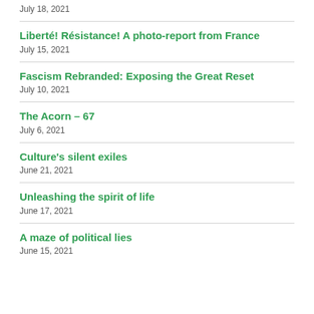July 18, 2021
Liberté! Résistance! A photo-report from France
July 15, 2021
Fascism Rebranded: Exposing the Great Reset
July 10, 2021
The Acorn – 67
July 6, 2021
Culture's silent exiles
June 21, 2021
Unleashing the spirit of life
June 17, 2021
A maze of political lies
June 15, 2021